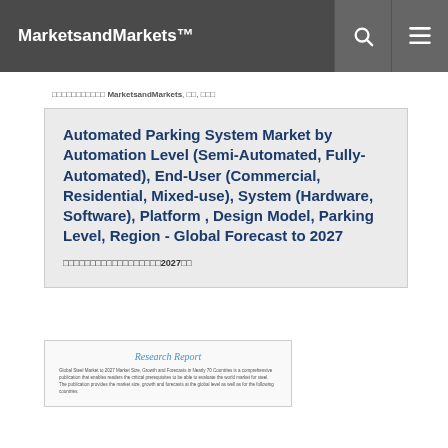MarketsandMarkets™
□□□□□□□□□□□ MarketsandMarkets, □□, □□□
Automated Parking System Market by Automation Level (Semi-Automated, Fully-Automated), End-User (Commercial, Residential, Mixed-use), System (Hardware, Software), Platform , Design Model, Parking Level, Region - Global Forecast to 2027
□□□□□□□□□□□□□□□□□□2027□□
[Figure (other): Research Report thumbnail card with title 'Research Report' and small body text describing global market report publication]